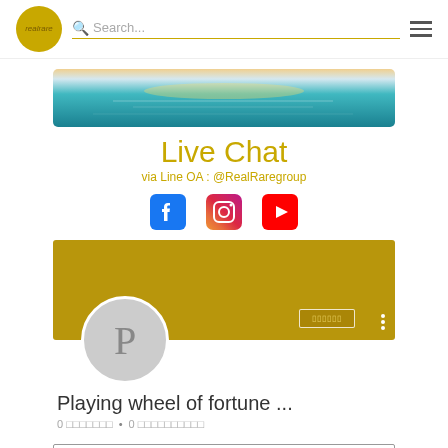realrare — Search... (navigation bar with logo, search field, and hamburger menu)
[Figure (photo): Panoramic ocean/sea sunset banner image with teal water and warm horizon light]
Live Chat
via Line OA : @RealRaregroup
[Figure (infographic): Social media icons row: Facebook (blue), Instagram (gradient), YouTube (red)]
[Figure (screenshot): Gold banner section with follow button showing Thai text and three-dot menu, with large gray avatar circle showing letter P]
Playing wheel of fortune ...
0 ??????? • 0 ??????????